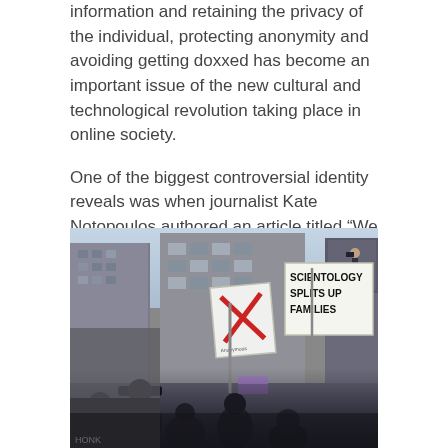information and retaining the privacy of the individual, protecting anonymity and avoiding getting doxxed has become an important issue of the new cultural and technological revolution taking place in online society.
One of the biggest controversial identity reveals was when journalist Kate Notopoulos authored an article titled “We found the real names of Bored Ape Yacht Club’s pseudonymous founders,” in which she uncovered the identities through publicly available records associated with Yuga Labs.
[Figure (photo): Street protest scene showing people holding signs. One sign has a red cross/X symbol on white background, another sign reads 'SCIENTOLOGY SPLITS UP FAMILIES'. Buildings visible in background. Crowded street scene with protesters.]